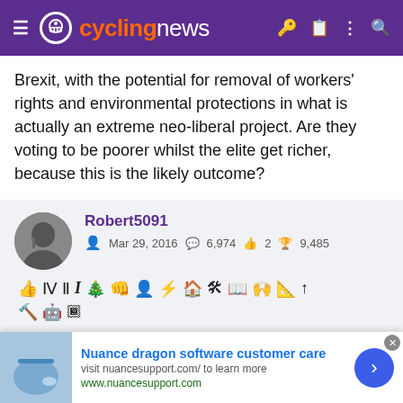[Figure (logo): Cyclingnews website header with purple background, hamburger menu, cyclist logo icon, and orange/white cyclingnews text, with icons on right]
Brexit, with the potential for removal of workers' rights and environmental protections in what is actually an extreme neo-liberal project. Are they voting to be poorer whilst the elite get richer, because this is the likely outcome?
Robert5091
Mar 29, 2016   6,974   2   9,485
Jan 4, 2019   #1,209
https://www.washingtonpost.com/world/2019/01/04/britain-clings-imperial-nostalgia-brexit-looms/
[Figure (screenshot): Advertisement banner for Nuance dragon software customer care with phone image thumbnail]